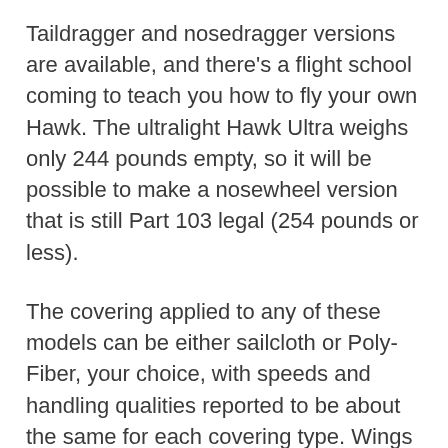Taildragger and nosedragger versions are available, and there's a flight school coming to teach you how to fly your own Hawk. The ultralight Hawk Ultra weighs only 244 pounds empty, so it will be possible to make a nosewheel version that is still Part 103 legal (254 pounds or less).
The covering applied to any of these models can be either sailcloth or Poly-Fiber, your choice, with speeds and handling qualities reported to be about the same for each covering type. Wings with the Poly-Fiber covering have an aluminum leading edge under the fabric, but sailcloth wings do not. The Classic and Ultra (as in ultralight) models have a